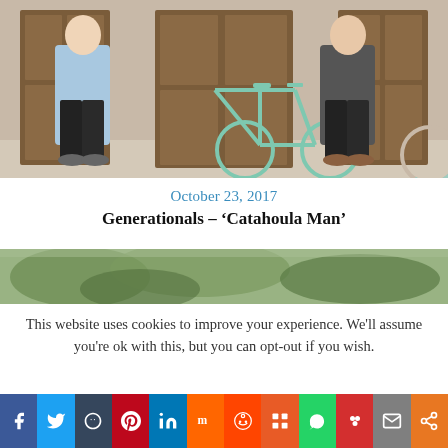[Figure (photo): Two men standing in front of wooden doors with a mint green bicycle between them. Left man wears a blue floral shirt and black jeans; right man wears a grey t-shirt and dark jeans with brown shoes.]
October 23, 2017
Generationals – ‘Catahoula Man’
[Figure (photo): Partial photo showing greenery/trees, clipped at bottom of visible area.]
This website uses cookies to improve your experience. We'll assume you're ok with this, but you can opt-out if you wish.